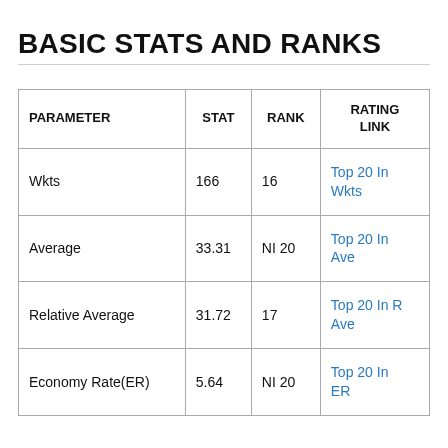BASIC STATS AND RANKS
| PARAMETER | STAT | RANK | RATING LINK |
| --- | --- | --- | --- |
| Wkts | 166 | 16 | Top 20 In Wkts |
| Average | 33.31 | NI 20 | Top 20 In Ave |
| Relative Average | 31.72 | 17 | Top 20 In R Ave |
| Economy Rate(ER) | 5.64 | NI 20 | Top 20 In ER |